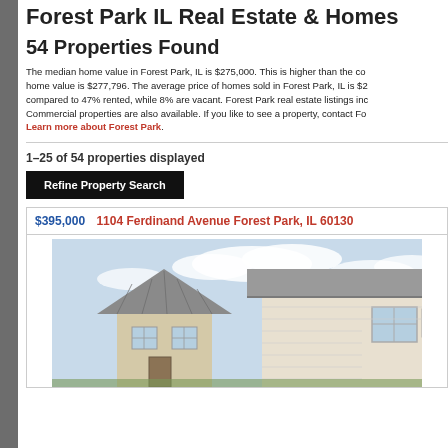Forest Park IL Real Estate & Homes
54 Properties Found
The median home value in Forest Park, IL is $275,000. This is higher than the co home value is $277,796. The average price of homes sold in Forest Park, IL is $2 compared to 47% rented, while 8% are vacant. Forest Park real estate listings inc Commercial properties are also available. If you like to see a property, contact Fo Learn more about Forest Park.
1–25 of 54 properties displayed
Refine Property Search
$395,000   1104 Ferdinand Avenue Forest Park, IL 60130
[Figure (photo): Photo of a house exterior showing roofline and windows]